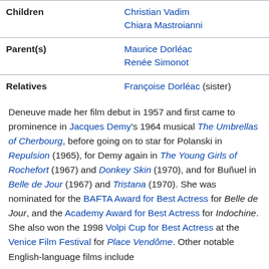| Children | Christian Vadim
Chiara Mastroianni |
| Parent(s) | Maurice Dorléac
Renée Simonot |
| Relatives | Françoise Dorléac (sister) |
Deneuve made her film debut in 1957 and first came to prominence in Jacques Demy's 1964 musical The Umbrellas of Cherbourg, before going on to star for Polanski in Repulsion (1965), for Demy again in The Young Girls of Rochefort (1967) and Donkey Skin (1970), and for Buñuel in Belle de Jour (1967) and Tristana (1970). She was nominated for the BAFTA Award for Best Actress for Belle de Jour, and the Academy Award for Best Actress for Indochine. She also won the 1998 Volpi Cup for Best Actress at the Venice Film Festival for Place Vendôme. Other notable English-language films include